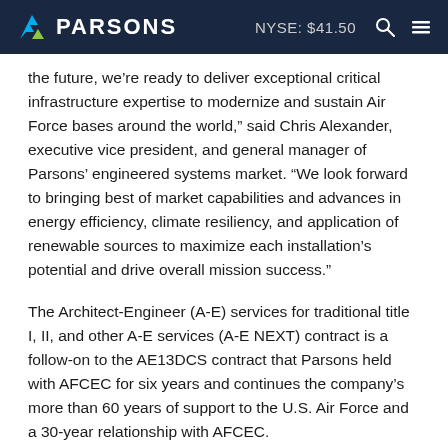PARSONS | NYSE: $41.50
the future, we’re ready to deliver exceptional critical infrastructure expertise to modernize and sustain Air Force bases around the world,” said Chris Alexander, executive vice president, and general manager of Parsons’ engineered systems market. “We look forward to bringing best of market capabilities and advances in energy efficiency, climate resiliency, and application of renewable sources to maximize each installation’s potential and drive overall mission success.”
The Architect-Engineer (A-E) services for traditional title I, II, and other A-E services (A-E NEXT) contract is a follow-on to the AE13DCS contract that Parsons held with AFCEC for six years and continues the company’s more than 60 years of support to the U.S. Air Force and a 30-year relationship with AFCEC.